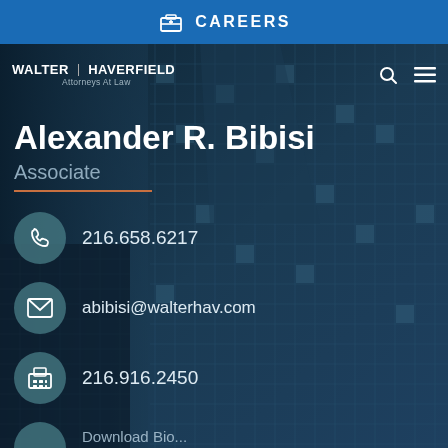CAREERS
[Figure (screenshot): Walter Haverfield Attorneys At Law law firm website screenshot showing attorney profile page for Alexander R. Bibisi with contact information over a dark building background]
Alexander R. Bibisi
Associate
216.658.6217
abibisi@walterhav.com
216.916.2450